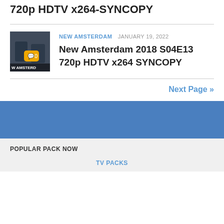720p HDTV x264-SYNCOPY
[Figure (photo): Thumbnail image for New Amsterdam TV show with chat bubble icon showing 0 comments]
NEW AMSTERDAM  JANUARY 19, 2022
New Amsterdam 2018 S04E13 720p HDTV x264 SYNCOPY
Next Page »
POPULAR PACK NOW
TV PACKS